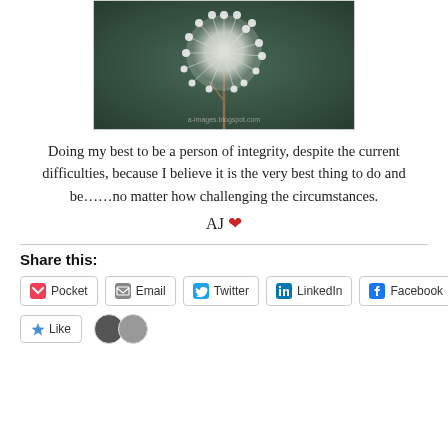[Figure (photo): Close-up photograph of a dandelion seed head (blowball) against a dark green background. Watermark reads 'a-images.blogspot.com'.]
Doing my best to be a person of integrity, despite the current difficulties, because I believe it is the very best thing to do and be……no matter how challenging the circumstances.
AJ ❤
Share this:
Pocket | Email | Twitter | LinkedIn | Facebook
Like